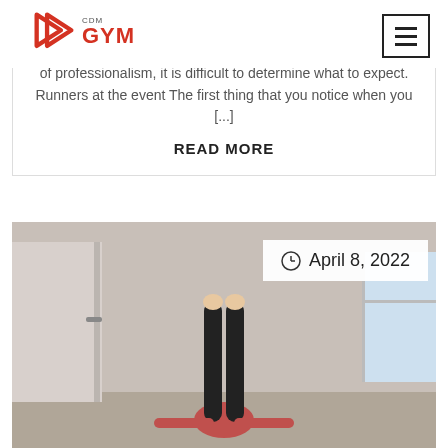CDM GYM
of professionalism, it is difficult to determine what to expect. Runners at the event The first thing that you notice when you [...]
READ MORE
[Figure (photo): Person lying on floor with legs raised straight up against a wall, wearing black leggings, with a door and window visible in the background. Date badge showing April 8, 2022 overlaid on image.]
April 8, 2022